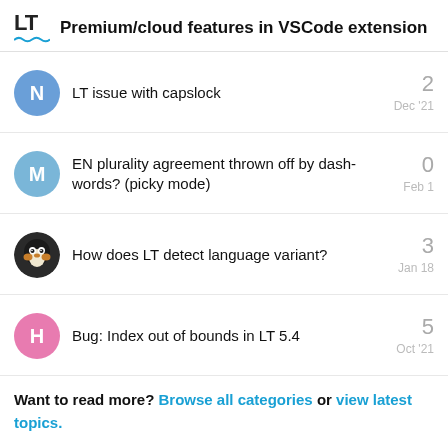Premium/cloud features in VSCode extension
LT issue with capslock — 2 replies — Dec '21
EN plurality agreement thrown off by dash-words? (picky mode) — 0 replies — Feb 1
How does LT detect language variant? — 3 replies — Jan 18
Bug: Index out of bounds in LT 5.4 — 5 replies — Oct '21
Want to read more? Browse all categories or view latest topics.